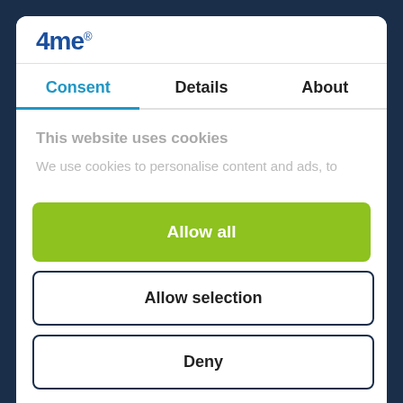[Figure (logo): 4me logo in blue bold text with registered trademark superscript]
Consent | Details | About
This website uses cookies
We use cookies to personalise content and ads, to
Allow all
Allow selection
Deny
Your Major Incident Management Procedure